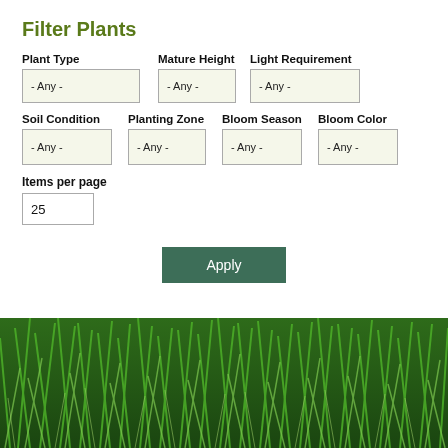Filter Plants
Plant Type
- Any -
Mature Height
- Any -
Light Requirement
- Any -
Soil Condition
- Any -
Planting Zone
- Any -
Bloom Season
- Any -
Bloom Color
- Any -
Items per page
25
Apply
[Figure (photo): Close-up photo of dense green grass or plant foliage with long narrow leaves]